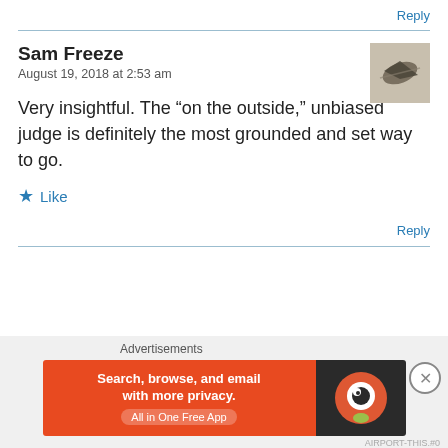Reply
Sam Freeze
August 19, 2018 at 2:53 am
[Figure (photo): Avatar image showing a dark bird or arrow shape on a light background]
Very insightful. The “on the outside,” unbiased judge is definitely the most grounded and set way to go.
Like
Reply
Advertisements
[Figure (screenshot): DuckDuckGo advertisement banner: Search, browse, and email with more privacy. All in One Free App.]